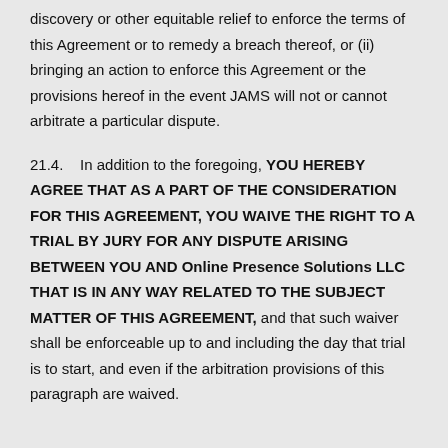discovery or other equitable relief to enforce the terms of this Agreement or to remedy a breach thereof, or (ii) bringing an action to enforce this Agreement or the provisions hereof in the event JAMS will not or cannot arbitrate a particular dispute.
21.4.    In addition to the foregoing, YOU HEREBY AGREE THAT AS A PART OF THE CONSIDERATION FOR THIS AGREEMENT, YOU WAIVE THE RIGHT TO A TRIAL BY JURY FOR ANY DISPUTE ARISING BETWEEN YOU AND Online Presence Solutions LLC THAT IS IN ANY WAY RELATED TO THE SUBJECT MATTER OF THIS AGREEMENT, and that such waiver shall be enforceable up to and including the day that trial is to start, and even if the arbitration provisions of this paragraph are waived.